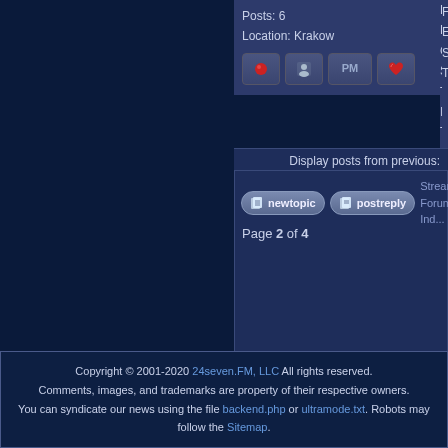Posts: 6
Location: Krakow
Frozen
Ender's Ga...
Star Trek: In...
The Lone R...
Display posts from previous:
new topic   post reply   Streaming...
Forum Ind...
Page 2 of 4
Forums ©
Copyright © 2001-2020 24seven.FM, LLC All rights reserved.
Comments, images, and trademarks are property of their respective owners.
You can syndicate our news using the file backend.php or ultramode.txt. Robots may follow the Sitemap.